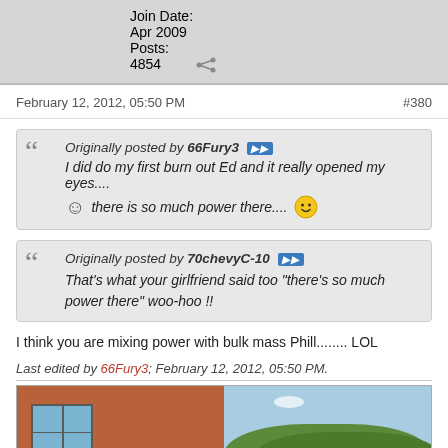Join Date:
Apr 2009
Posts:
4854
February 12, 2012, 05:50 PM
#380
Originally posted by 66Fury3
I did do my first burn out Ed and it really opened my eyes....
☺ there is so much power there....😊
Originally posted by 70chevyC-10
That's what your girlfriend said too "there's so much power there" woo-hoo !!
I think you are mixing power with bulk mass Phill........ LOL
Last edited by 66Fury3; February 12, 2012, 05:50 PM.
[Figure (photo): Photo of a brick building on the left and trees with sky on the right]